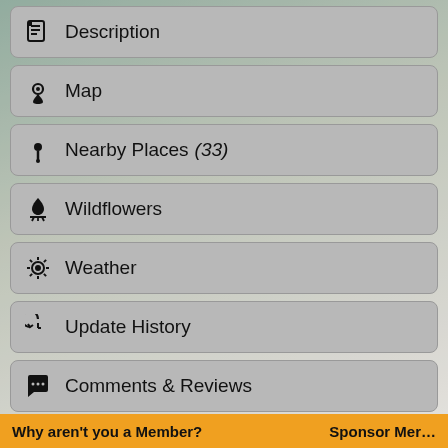Description
Map
Nearby Places (33)
Wildflowers
Weather
Update History
Comments & Reviews
Add Photos & Files
Alert Admin
Open in Traveller App
Why aren't you a Member?
Sponsor Merge...